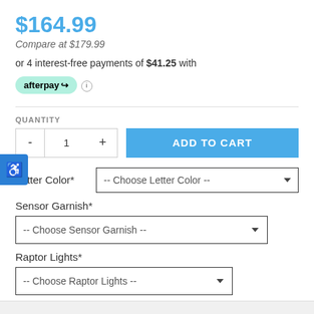$164.99
Compare at $179.99
or 4 interest-free payments of $41.25 with afterpay
QUANTITY
- 1 + ADD TO CART
Letter Color* -- Choose Letter Color --
Sensor Garnish* -- Choose Sensor Garnish --
Raptor Lights* -- Choose Raptor Lights --